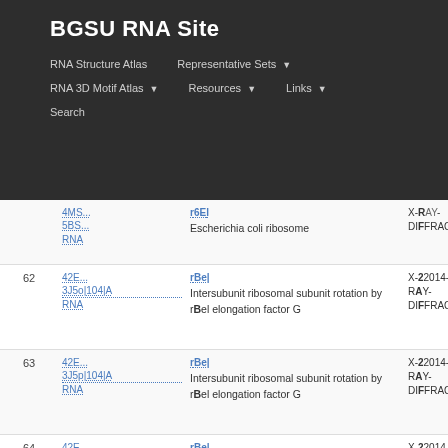BGSU RNA Site
RNA Structure Atlas | Representative Sets | RNA 3D Motif Atlas | Resources | Links | Search
| # | ID | Description | Method/Date |
| --- | --- | --- | --- |
|  | 4MS...|5BS...|RNA | Escherichia coli ribosome | X-RAY DIFFRAC... |
| 62 | 42E...|3J0...|RNA | Intersubunit ribosomal subunit rotation by rel. elongation factor G | X-2014-07-RAY DIFFRAC... |
| 63 | 42E...|3J0...|RNA | Intersubunit ribosomal subunit rotation by rel. elongation factor G | X-2014-07-RAY DIFFRAC... |
| 64 | 42E...|3J0...|RNA | Intersubunit ribosomal subunit rotation by rel. elongation factor G | X-2014-07-RAY DIFFRAC... |
| 65 | 42E...|4CS...|RNA | Crystal structure of the E. coli ribosome | X-32014-07-RAY DIFFRAC... |